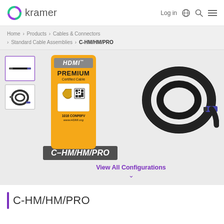[Figure (logo): Kramer logo with purple circular icon and 'kramer' wordmark]
Log in  🌐  🔍  ≡
Home > Products > Cables & Connectors > Standard Cable Assemblies > C-HM/HM/PRO
[Figure (photo): HDMI Premium Certified Cable product image showing orange HDMI badge label and coiled black cable with blue connector]
C-HM/HM/PRO
View All Configurations
C-HM/HM/PRO